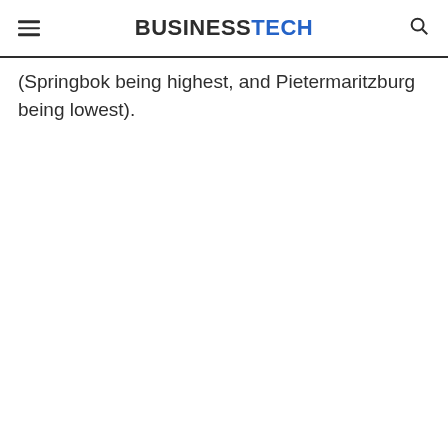BUSINESSTECH
(Springbok being highest, and Pietermaritzburg being lowest).